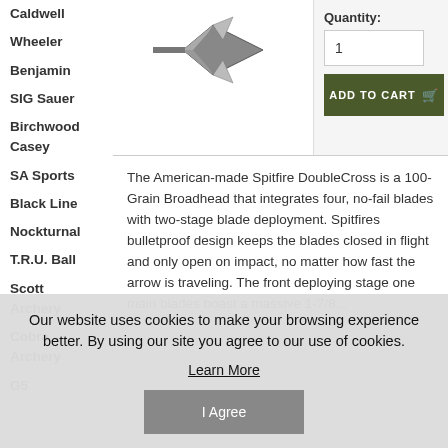Caldwell
Wheeler
Benjamin
SIG Sauer
Birchwood Casey
SA Sports
Black Line
Nockturnal
T.R.U. Ball
Scott Archery
Cobra Archery
G5
[Figure (photo): Spitfire DoubleCross broadhead arrow tip product image]
Quantity:
1
ADD TO CART
The American-made Spitfire DoubleCross is a 100-Grain Broadhead that integrates four, no-fail blades with two-stage blade deployment. Spitfires bulletproof design keeps the blades closed in flight and only open on impact, no matter how fast the arrow is traveling. The front deploying stage one main blades boast a massive 1-7/8...
Our website uses cookies to make your browsing experience better. By using our site you agree to our use of cookies.
Learn More
I Agree